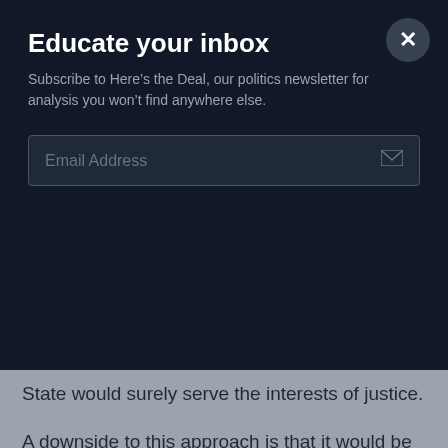Educate your inbox
Subscribe to Here's the Deal, our politics newsletter for analysis you won't find anywhere else.
Email Address
State would surely serve the interests of justice.
A downside to this approach is that it would be a temporary fix. Defeating the Islamic State in Syria would require ending the civil war there; a tall order indeed. The 2007 “surge” in Iraq resulted in a temporary rout of the predecessor organization to the Islamic State. A number of generals warned before the surge that we